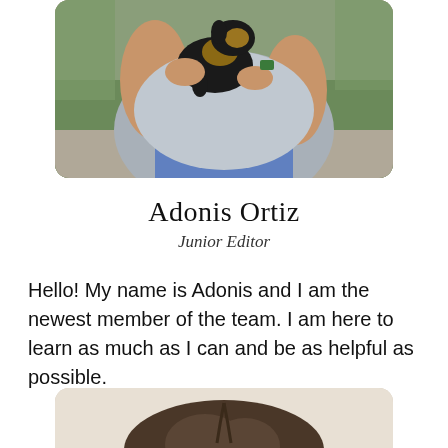[Figure (photo): Person holding a small black and tan puppy/dog, wearing a gray shirt, outdoors]
Adonis Ortiz
Junior Editor
Hello!  My name is Adonis and I am the newest member of the team.  I am here to learn as much as I can and be as helpful as possible.
[Figure (photo): Top of a person's head showing brown hair, partial profile photo cropped at bottom of page]